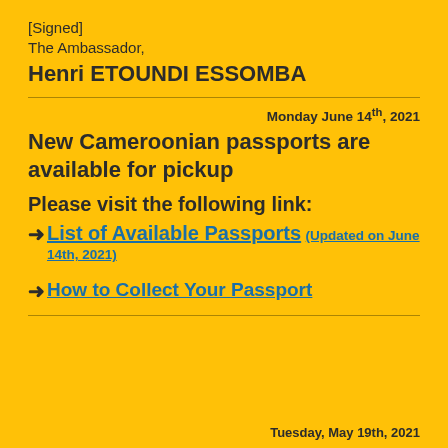[Signed]
The Ambassador,
Henri ETOUNDI ESSOMBA
Monday June 14th, 2021
New Cameroonian passports are available for pickup
Please visit the following link:
→List of Available Passports (Updated on June 14th, 2021)
→How to Collect Your Passport
Tuesday, May 19th, 2021